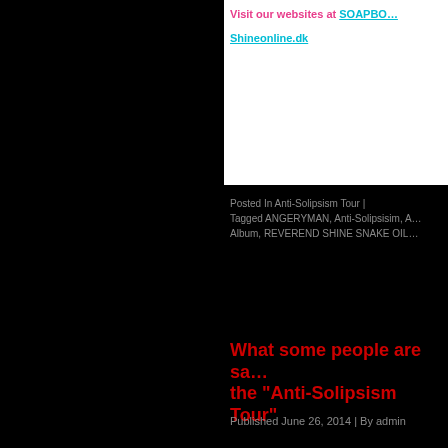Visit our websites at SOAPBO… Shineonline.dk
Posted In Anti-Solipsism Tour | Tagged ANGERYMAN, Anti-Solipsisim, A… Album, REVEREND SHINE SNAKE OIL…
What some people are sa… the “Anti-Solipsism Tour’
Published June 26, 2014 | By admin